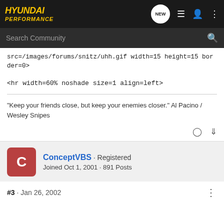Hyundai Performance
src=/images/forums/snitz/uhh.gif width=15 height=15 border=0>
<hr width=60% noshade size=1 align=left>
"Keep your friends close, but keep your enemies closer." Al Pacino / Wesley Snipes
ConceptVBS · Registered
Joined Oct 1, 2001 · 891 Posts
#3 · Jan 26, 2002